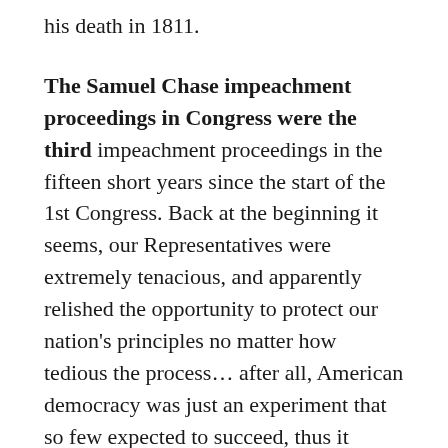his death in 1811.
The Samuel Chase impeachment proceedings in Congress were the third
impeachment proceedings in the fifteen short years since the start of the 1st Congress. Back at the beginning it seems, our Representatives were extremely tenacious, and apparently relished the opportunity to protect our nation's principles no matter how tedious the process... after all, American democracy was just an experiment that so few expected to succeed, thus it seemed that everyone was determined to exert the maximum effort required to triumph.